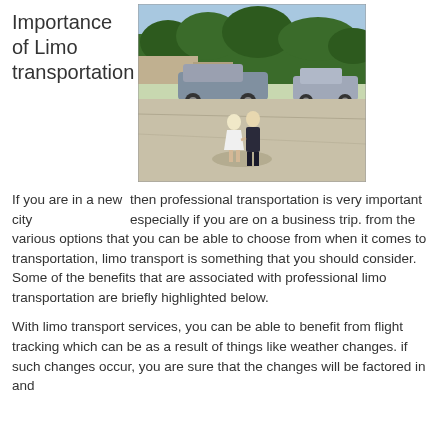Importance of Limo transportation
[Figure (photo): A child in a white dress and a man in dark formal wear holding hands and walking in a parking lot, with a limousine/large vehicle in the background and trees beyond.]
If you are in a new city then professional transportation is very important especially if you are on a business trip. from the various options that you can be able to choose from when it comes to transportation, limo transport is something that you should consider. Some of the benefits that are associated with professional limo transportation are briefly highlighted below.
With limo transport services, you can be able to benefit from flight tracking which can be as a result of things like weather changes. if such changes occur, you are sure that the changes will be factored in and